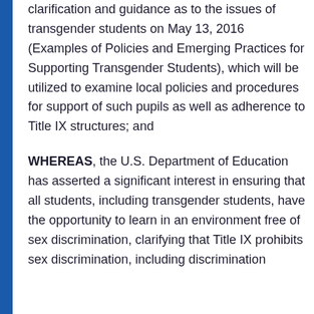clarification and guidance as to the issues of transgender students on May 13, 2016 (Examples of Policies and Emerging Practices for Supporting Transgender Students), which will be utilized to examine local policies and procedures for support of such pupils as well as adherence to Title IX structures; and
WHEREAS, the U.S. Department of Education has asserted a significant interest in ensuring that all students, including transgender students, have the opportunity to learn in an environment free of sex discrimination, clarifying that Title IX prohibits sex discrimination, including discrimination